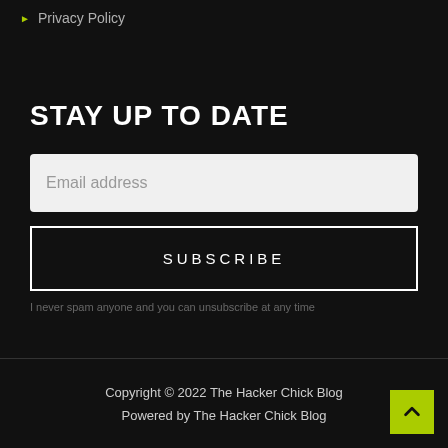Privacy Policy
STAY UP TO DATE
Email address
SUBSCRIBE
I never spam anyone and you can unsubscribe at any time
Copyright © 2022 The Hacker Chick Blog
Powered by The Hacker Chick Blog